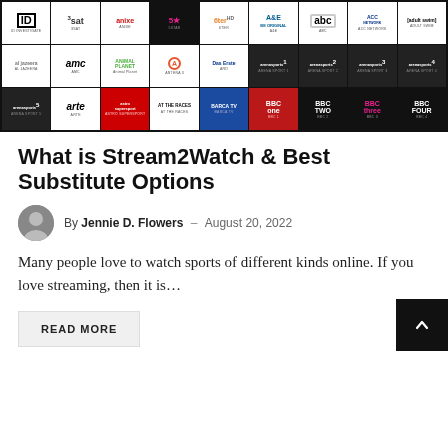[Figure (screenshot): Grid of TV channel logos on dark background including ID, 3sat, Anixe, 5Star, 6ter HD, A&E, ABC, ACC Network, Adult Swim, Al Jazeera, AMC, Animal Planet, Antena 3, ARD (Das Erste), Arena Sport 1-4, Arena Sport 5, Arte, Astro Supersport, At The Races, Barca TV, BBC One, BBC Two, BBC Three, BBC Four]
What is Stream2Watch & Best Substitute Options
By Jennie D. Flowers – August 20, 2022
Many people love to watch sports of different kinds online. If you love streaming, then it is…
READ MORE